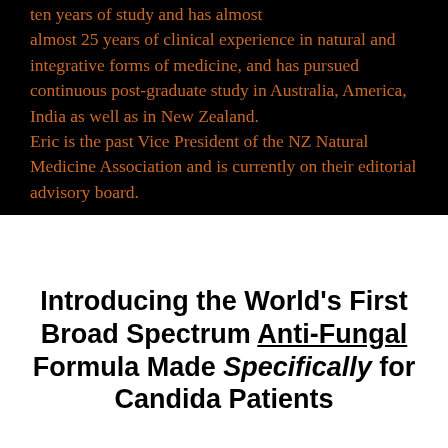ten years of study and has almost almost 25 years of clinical experience in natural and integrative forms of medicine, and has pursued continuous post-graduate study in Australia, America, India as well as in New Zealand. Eric is the past Vice President of the NZ Natural Medicine Association and is currently on their editorial advisory board.
Introducing the World's First Broad Spectrum Anti-Fungal Formula Made Specifically for Candida Patients